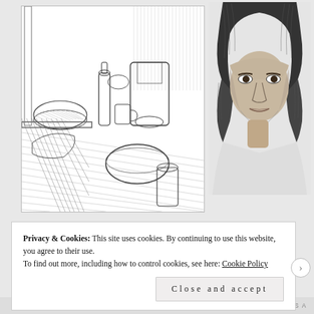[Figure (illustration): Pencil/ink sketch of a kitchen still life with food items, bottles, bowls, and kitchen appliances on a countertop, drawn in detailed hatching style]
[Figure (illustration): Pencil portrait sketch of a person with long dark hair, showing face and upper shoulders, realistic shading style]
Privacy & Cookies: This site uses cookies. By continuing to use this website, you agree to their use.
To find out more, including how to control cookies, see here: Cookie Policy
Close and accept
NEXT THIS A…